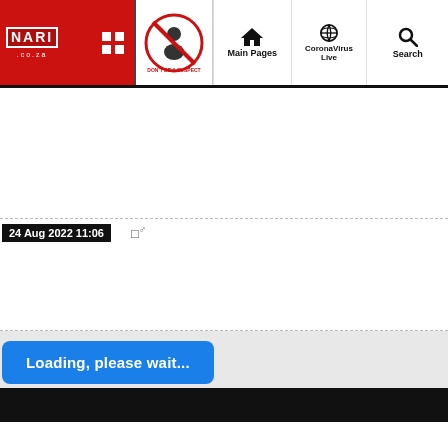[Figure (screenshot): Website navigation bar with logo 'NARI .co.za', grid/menu icon, COVID anti-scammer circle icon, and nav links: Main Pages, CoronaVirus Live, Search]
24 Aug 2022 11:06
□♂
Loading, please wait...